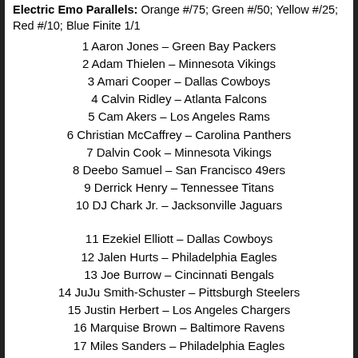Electric Emo Parallels: Orange #/75; Green #/50; Yellow #/25; Red #/10; Blue Finite 1/1
1 Aaron Jones – Green Bay Packers
2 Adam Thielen – Minnesota Vikings
3 Amari Cooper – Dallas Cowboys
4 Calvin Ridley – Atlanta Falcons
5 Cam Akers – Los Angeles Rams
6 Christian McCaffrey – Carolina Panthers
7 Dalvin Cook – Minnesota Vikings
8 Deebo Samuel – San Francisco 49ers
9 Derrick Henry – Tennessee Titans
10 DJ Chark Jr. – Jacksonville Jaguars
11 Ezekiel Elliott – Dallas Cowboys
12 Jalen Hurts – Philadelphia Eagles
13 Joe Burrow – Cincinnati Bengals
14 JuJu Smith-Schuster – Pittsburgh Steelers
15 Justin Herbert – Los Angeles Chargers
16 Marquise Brown – Baltimore Ravens
17 Miles Sanders – Philadelphia Eagles
18 Nick Chubb – Cleveland Browns